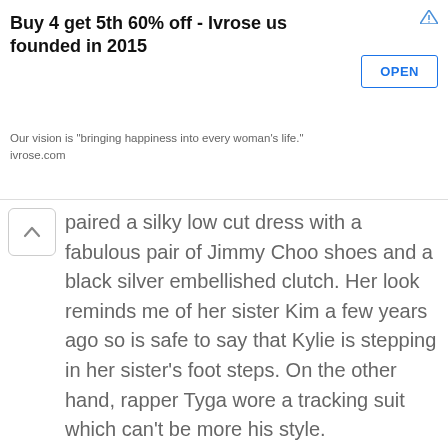[Figure (screenshot): Advertisement banner for Ivrose.com: 'Buy 4 get 5th 60% off - Ivrose us founded in 2015' with OPEN button and ad icon]
paired a silky low cut dress with a fabulous pair of Jimmy Choo shoes and a black silver embellished clutch. Her look reminds me of her sister Kim a few years ago so is safe to say that Kylie is stepping in her sister's foot steps. On the other hand, rapper Tyga wore a tracking suit which can't be more his style.
[Figure (photo): Photo of Kylie Jenner in a white outfit and a man in a yellow jacket (Tyga) walking outside near a wooden paneled wall, with other people in the background]